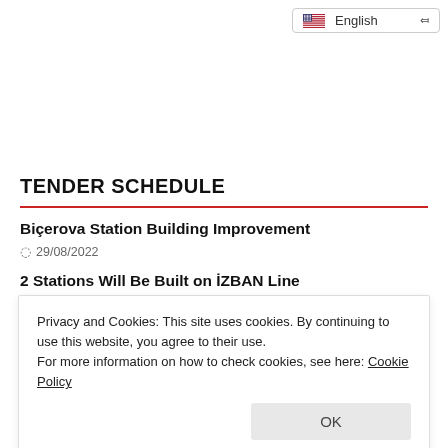🇺🇸 English
TENDER SCHEDULE
Biçerova Station Building Improvement
29/08/2022
2 Stations Will Be Built on İZBAN Line
Privacy and Cookies: This site uses cookies. By continuing to use this website, you agree to their use.
For more information on how to check cookies, see here: Cookie Policy
OK
Tenders Postponed